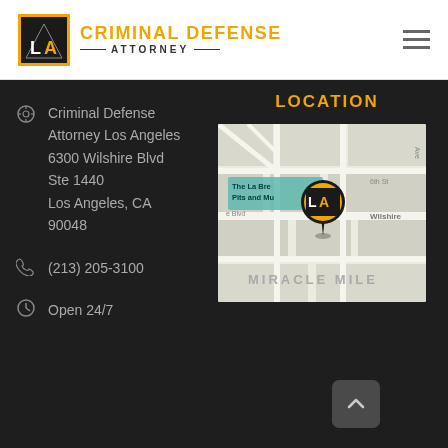[Figure (logo): LA Criminal Defense Attorney logo with black square containing white LA letters with gold border, followed by text CRIMINAL DEFENSE ATTORNEY in gold and dark colors]
LOCATION
Criminal Defense Attorney Los Angeles
6300 Wilshire Blvd
Ste 1440
Los Angeles, CA 90048
(213) 205-3100
Open 24/7
[Figure (map): Google Maps screenshot showing location near Wilshire Blvd in the Miracle Mile area of Los Angeles, with a custom LA Criminal Defense Attorney map pin marker near The La Brea Tar Pits and Museum]